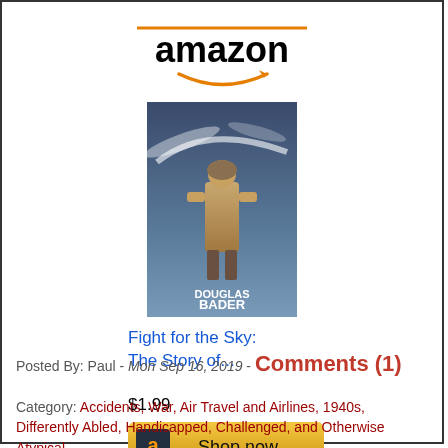[Figure (logo): Amazon logo with orange line above text and orange smile arrow below]
[Figure (photo): Book cover of 'Douglas Bader: Fight for the Sky' showing a pilot figure]
Fight for the Sky: The Story of...
$1.99
[Figure (other): Amazon 'Shop now' button with gold gradient background and Amazon 'a' logo icon]
Posted By: Paul - Mon Sep 16, 2019 - Comments (1)
Category: Accidents, War, Air Travel and Airlines, 1940s, Differently Abled, Handicapped, Challenged, and Otherwise Atypical